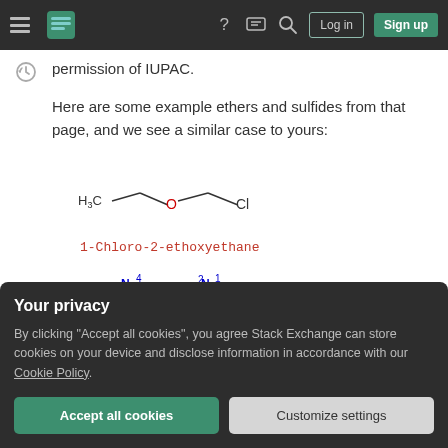Stack Exchange navigation bar with hamburger menu, logo, help icon, chat icon, search icon, Log in and Sign up buttons
permission of IUPAC.
Here are some example ethers and sulfides from that page, and we see a similar case to yours:
[Figure (illustration): Structural chemical formula of 1-Chloro-2-ethoxyethane showing H3C-CH2-O-CH2-CH2-Cl]
1-Chloro-2-ethoxyethane
[Figure (illustration): Structural chemical formula of a bipyridyl ether compound with numbered N atoms at positions 1,2,3,4 and O atom, showing two pyridine rings connected by an oxygen atom]
Your privacy
By clicking "Accept all cookies", you agree Stack Exchange can store cookies on your device and disclose information in accordance with our Cookie Policy.
Accept all cookies
Customize settings